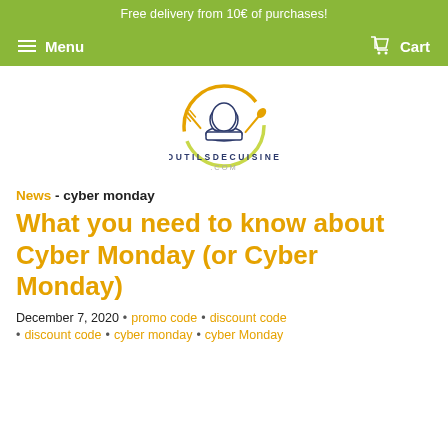Free delivery from 10€ of purchases!
Menu   Cart
[Figure (logo): OutilsDeCuisine.com logo: chef hat inside a circular fork and spoon graphic, with text OUTILSDECUISINE .COM below]
News - cyber monday
What you need to know about Cyber Monday (or Cyber Monday)
December 7, 2020 • promo code • discount code
• discount code • cyber monday • cyber Monday